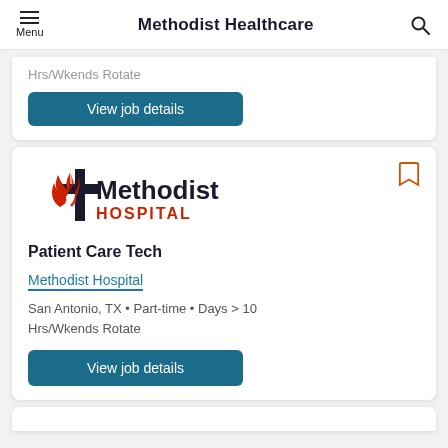Methodist Healthcare
Hrs/Wkends Rotate
View job details
[Figure (logo): Methodist Hospital logo with red flame cross and dark blue text]
Patient Care Tech
Methodist Hospital
San Antonio, TX • Part-time • Days > 10 Hrs/Wkends Rotate
View job details